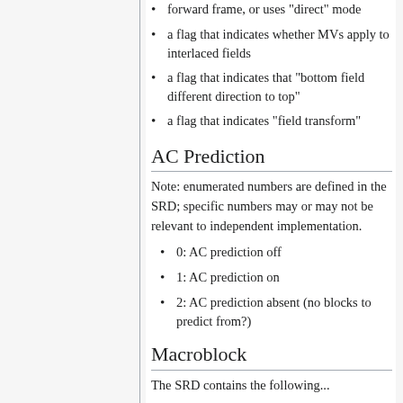forward frame, or uses "direct" mode
a flag that indicates whether MVs apply to interlaced fields
a flag that indicates that "bottom field different direction to top"
a flag that indicates "field transform"
AC Prediction
Note: enumerated numbers are defined in the SRD; specific numbers may or may not be relevant to independent implementation.
0: AC prediction off
1: AC prediction on
2: AC prediction absent (no blocks to predict from?)
Macroblock
The SRD contains the following...